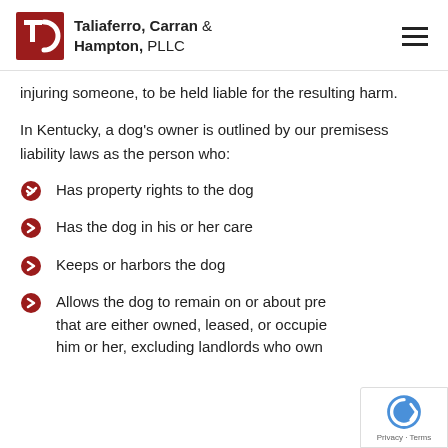Taliaferro, Carran & Hampton, PLLC
injuring someone, to be held liable for the resulting harm.
In Kentucky, a dog's owner is outlined by our premisess liability laws as the person who:
Has property rights to the dog
Has the dog in his or her care
Keeps or harbors the dog
Allows the dog to remain on or about pre that are either owned, leased, or occupie him or her, excluding landlords who own